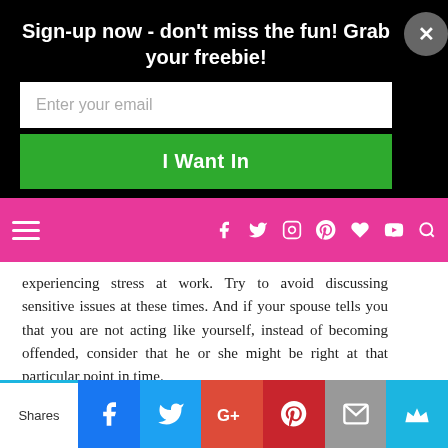Sign-up now - don't miss the fun! Grab your freebie!
[Figure (screenshot): Email sign-up form with input field and green 'I Want In' button]
[Figure (screenshot): Pink navigation bar with hamburger menu and social media icons]
experiencing stress at work. Try to avoid discussing sensitive issues at these times. And if your spouse tells you that you are not acting like yourself, instead of becoming offended, consider that he or she might be right at that particular point in time.
Know when to surrender
There really aren't that many issues worth fighting over. Choose your battles wisely. Think back to your last fight, does it really still seem as urgent and compelling to you? Do you even remember it? If you don't have to concede your
[Figure (screenshot): Social share bar at bottom with Facebook, Twitter, Google+, Pinterest, Email, and crown icons]